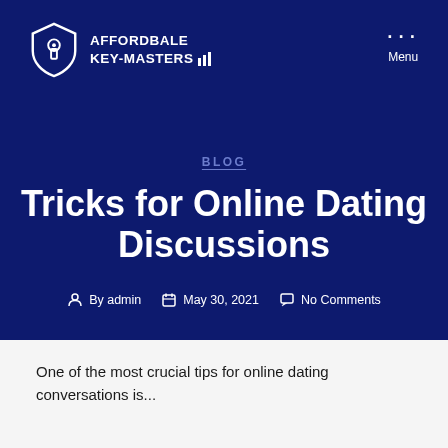[Figure (logo): Affordbale Key-Masters logo with shield and key icon on dark blue background]
Menu
BLOG
Tricks for Online Dating Discussions
By admin   May 30, 2021   No Comments
One of the most crucial tips for online dating conversations is...